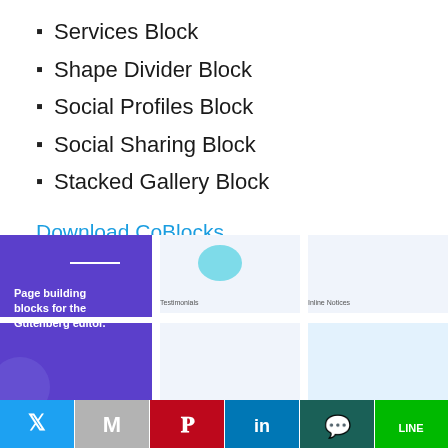Services Block
Shape Divider Block
Social Profiles Block
Social Sharing Block
Stacked Gallery Block
Download CoBlocks
Atomic Block
[Figure (screenshot): Atomic Block plugin screenshot showing page building blocks for the Gutenberg editor with panels for Testimonials, Inline Notices, and Author Profile]
[Figure (infographic): Social sharing bar with Twitter, Gmail, Pinterest, LinkedIn, WhatsApp, and Line buttons]